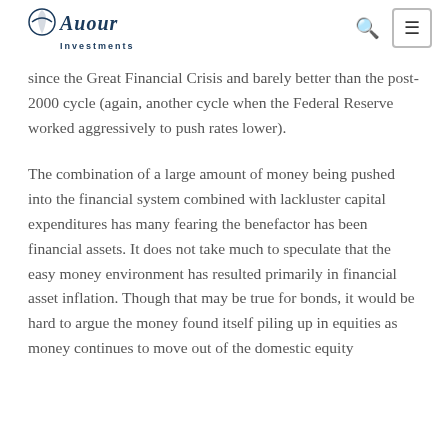Auour Investments [logo] [search icon] [menu icon]
since the Great Financial Crisis and barely better than the post-2000 cycle (again, another cycle when the Federal Reserve worked aggressively to push rates lower).
The combination of a large amount of money being pushed into the financial system combined with lackluster capital expenditures has many fearing the benefactor has been financial assets. It does not take much to speculate that the easy money environment has resulted primarily in financial asset inflation. Though that may be true for bonds, it would be hard to argue the money found itself piling up in equities as money continues to move out of the domestic equity